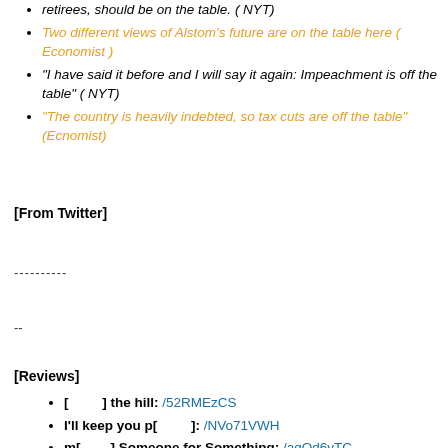retirees, should be on the table. ( NYT)
Two different views of Alstom's future are on the table here ( Economist )
"I have said it before and I will say it again: Impeachment is off the table" ( NYT)
"The country is heavily indebted, so tax cuts are off the table" (Ecnomist)
[From Twitter]
----------
--
[Reviews]
[ ] the hill: /52RMEzCS
I'll keep you p[ ]: /NVo71VWH
m[ ] Someone for Something: /aqQd6yTC